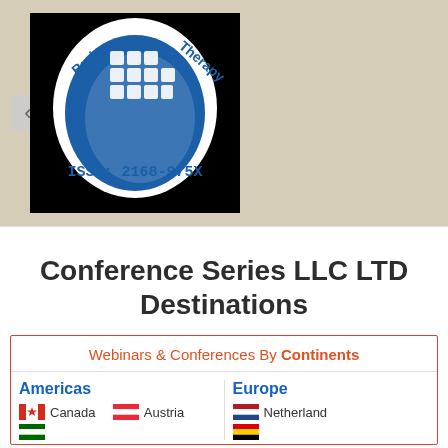[Figure (logo): Brain Therapy journal logo — blue silhouette of human head with puzzle pieces, text 'Brain Therapy' around the oval, and 'ISSN: 2168-975X' below]
Conference Series LLC LTD Destinations
Webinars & Conferences By Continents
Americas
Canada
Austria
Europe
Netherlands